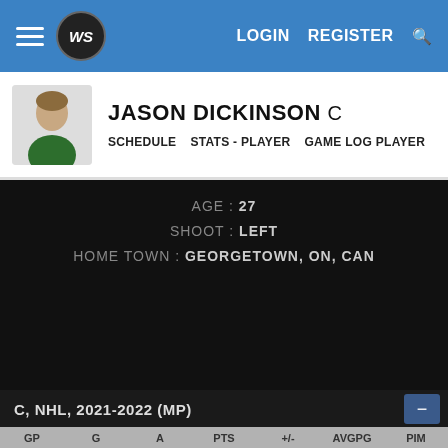LOGIN  REGISTER
JASON DICKINSON C
SCHEDULE   STATS - PLAYER   GAME LOG PLAYER
AGE : 27
SHOOT : LEFT
HOME TOWN : GEORGETOWN, ON, CAN
ACTIVE TEAMS
[Figure (logo): Vancouver Canucks team logo — circular dark blue with orca/wave design]
VANCOUVER CANUCKS
C, NHL, 2021-2022 (MP)
| GP | G | A | PTS | +/- | AVGPG | PIM |
| --- | --- | --- | --- | --- | --- | --- |
| 62 | 5 | 6 | 11 | -1 | 0.2 | 19 |